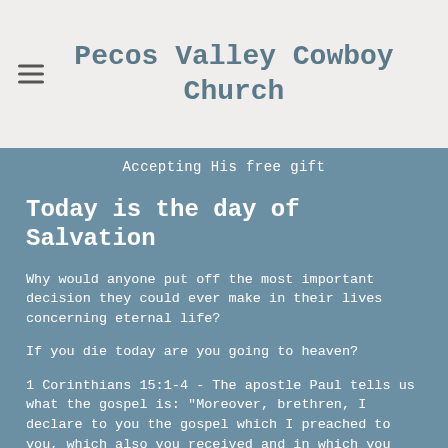Pecos Valley Cowboy Church
Accepting His free gift
Today is the day of Salvation
Why would anyone put off the most important decision they could ever make in their lives concerning eternal life?
If you die today are you going to heaven?
1 Corinthians 15:1-4 - The apostle Paul tells us what the gospel is: "Moreover, brethren, I declare to you the gospel which I preached to you, which also you received and in which you stand, by which also you are saved, if you hold fast that word which I preached